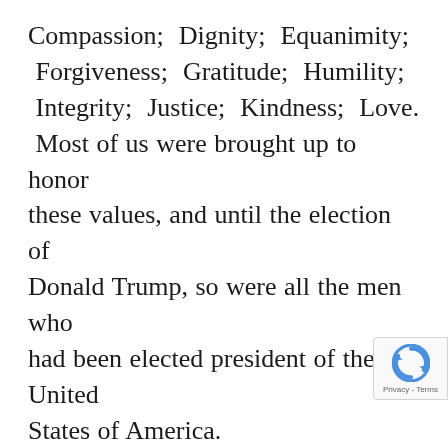Compassion; Dignity; Equanimity; Forgiveness; Gratitude; Humility; Integrity; Justice; Kindness; Love. Most of us were brought up to honor these values, and until the election of Donald Trump, so were all the men who had been elected president of the United States of America.
Donald Trump's values are the antithesis of these, and if this is not reason enough to say not my president, the third photograph above should suffice. Our president MUST believe in SCIENCE. Donald Trump doesn't, and...